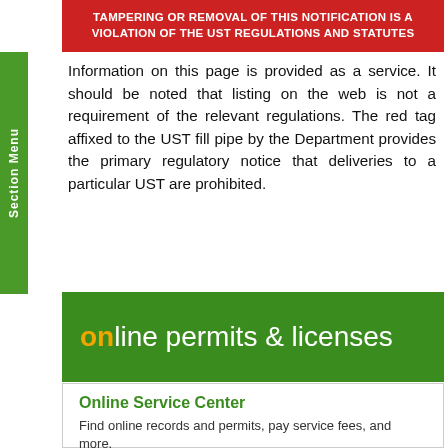[Figure (other): Red banner with white bold text: TAMPERING OR REMOVAL OF THIS NOTIFICATION IS A VIOLATION OF THE UST REGULATIONS AND STATUTES]
Information on this page is provided as a service. It should be noted that listing on the web is not a requirement of the relevant regulations. The red tag affixed to the UST fill pipe by the Department provides the primary regulatory notice that deliveries to a particular UST are prohibited.
[Figure (logo): Green banner with 'online permits & licenses' logo where 'on' is in orange and the rest is white text on green background]
Online Service Center
Find online records and permits, pay service fees, and more.